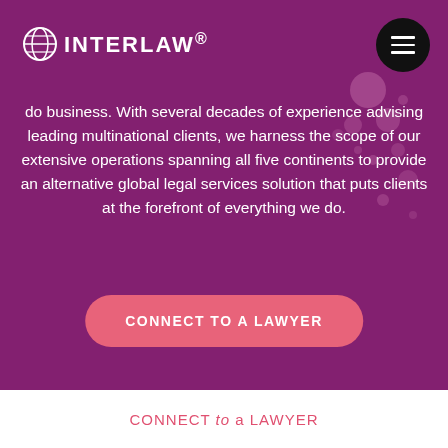[Figure (logo): INTERLAW logo with globe icon on purple background]
do business. With several decades of experience advising leading multinational clients, we harness the scope of our extensive operations spanning all five continents to provide an alternative global legal services solution that puts clients at the forefront of everything we do.
CONNECT TO A LAWYER
CONNECT to a LAWYER